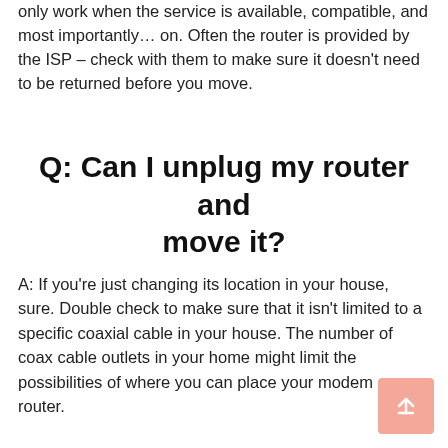only work when the service is available, compatible, and most importantly… on. Often the router is provided by the ISP – check with them to make sure it doesn't need to be returned before you move.
Q: Can I unplug my router and move it?
A: If you're just changing its location in your house, sure. Double check to make sure that it isn't limited to a specific coaxial cable in your house. The number of coax cable outlets in your home might limit the possibilities of where you can place your modem or router.